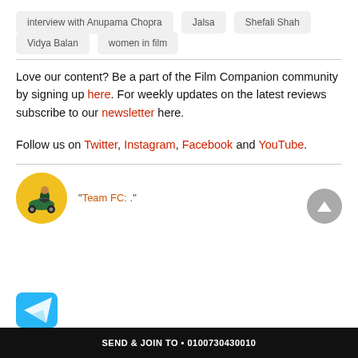interview with Anupama Chopra
Jalsa
Shefali Shah
Vidya Balan
women in film
Love our content? Be a part of the Film Companion community by signing up here. For weekly updates on the latest reviews subscribe to our newsletter here.
Follow us on Twitter, Instagram, Facebook and YouTube.
"Team FC: ."
[Figure (logo): Yellow circular avatar with motorcycle illustration]
[Figure (logo): Telegram icon blue paper airplane]
SEND & JOIN TO • 0100730430010